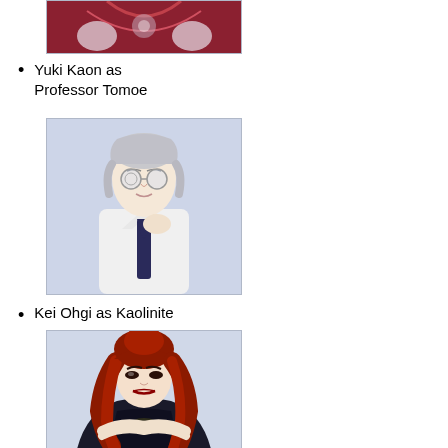[Figure (photo): Partial photo of a costumed figure in red/dark outfit with gloved hands, cropped at top of page]
Yuki Kaon as Professor Tomoe
[Figure (photo): Photo of Yuki Kaon as Professor Tomoe: person with silver/white hair, round glasses, white suit jacket and dark tie, posed thoughtfully with hand near face]
Kei Ohgi as Kaolinite
[Figure (photo): Photo of Kei Ohgi as Kaolinite: person with long red hair, dark outfit, dramatic makeup]